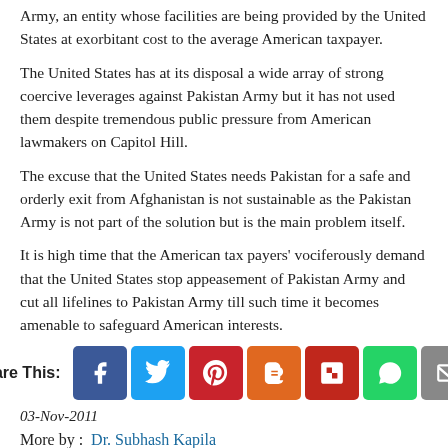Army, an entity whose facilities are being provided by the United States at exorbitant cost to the average American taxpayer.
The United States has at its disposal a wide array of strong coercive leverages against Pakistan Army but it has not used them despite tremendous public pressure from American lawmakers on Capitol Hill.
The excuse that the United States needs Pakistan for a safe and orderly exit from Afghanistan is not sustainable as the Pakistan Army is not part of the solution but is the main problem itself.
It is high time that the American tax payers' vociferously demand that the United States stop appeasement of Pakistan Army and cut all lifelines to Pakistan Army till such time it becomes amenable to safeguard American interests.
[Figure (infographic): Share This: row of social media icons — Facebook (blue), Twitter (light blue), Pinterest (red), Blogger (orange), Flipboard (red), WhatsApp (green), Email (grey)]
03-Nov-2011
More by :  Dr. Subhash Kapila
Top | Analysis
Views: 1503     Comments: 1
Comments on this Article